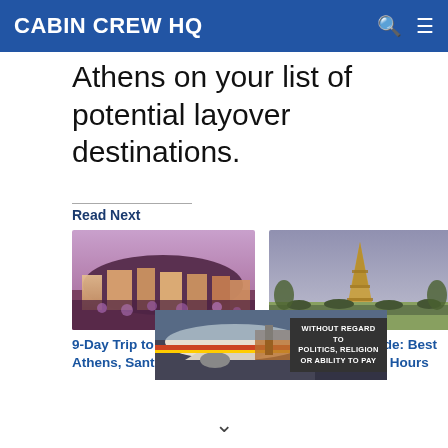CABIN CREW HQ
Athens on your list of potential layover destinations.
Read Next
[Figure (photo): Aerial view of Athens city with colorful buildings and crowds]
9-Day Trip to Greece: Athens, Santorini, and Milos
[Figure (photo): Eiffel Tower in Paris with crowds in the foreground]
Paris Layover Guide: Best Things to Do in 24 Hours
[Figure (photo): Advertisement banner showing an airplane being loaded with cargo and text WITHOUT REGARD TO POLITICS, RELIGION OR ABILITY TO PAY]